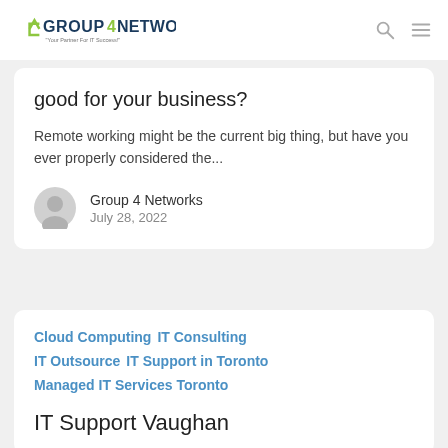GROUP4NETWORKS - Your Partner For IT Success!
good for your business?
Remote working might be the current big thing, but have you ever properly considered the...
Group 4 Networks
July 28, 2022
Cloud Computing
IT Consulting
IT Outsource
IT Support in Toronto
Managed IT Services Toronto
IT Support Vaughan